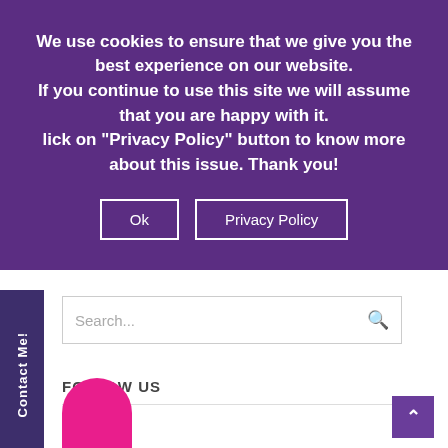We use cookies to ensure that we give you the best experience on our website. If you continue to use this site we will assume that you are happy with it. lick on "Privacy Policy" button to know more about this issue. Thank you!
[Figure (screenshot): Cookie consent overlay with purple background containing two buttons: 'Ok' and 'Privacy Policy']
Contact Me!
Search...
FOLLOW US